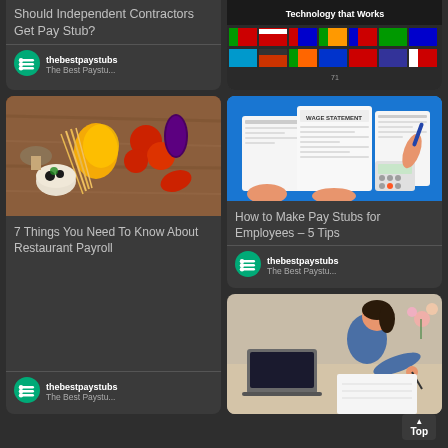Should Independent Contractors Get Pay Stub?
thebestpaystubs
The Best Paystu...
[Figure (photo): Overhead view of vegetables, pasta and food items on a wooden table]
7 Things You Need To Know About Restaurant Payroll
thebestpaystubs
The Best Paystu...
[Figure (photo): Colorful flags and technology banner with text 'Technology that Works']
[Figure (photo): Hands holding and reviewing wage statement / pay stub documents on blue background]
How to Make Pay Stubs for Employees – 5 Tips
thebestpaystubs
The Best Paystu...
[Figure (photo): Person working at desk with laptop, writing notes]